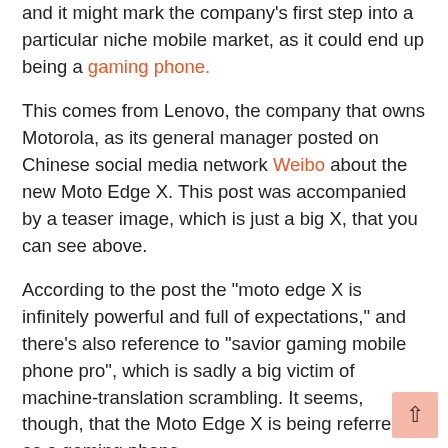and it might mark the company's first step into a particular niche mobile market, as it could end up being a gaming phone.
This comes from Lenovo, the company that owns Motorola, as its general manager posted on Chinese social media network Weibo about the new Moto Edge X. This post was accompanied by a teaser image, which is just a big X, that you can see above.
According to the post the "moto edge X is infinitely powerful and full of expectations," and there's also reference to "savior gaming mobile phone pro", which is sadly a big victim of machine-translation scrambling. It seems, though, that the Moto Edge X is being referred to as a gaming phone.
Check out our Moto Edge 20 Pro review
These are the best 5G phones
The Xiaomi 12 is coming soon
Gaming phones are a particular niche of mobile that have top specs and good-looking screens coupled usually with mid-range prices, but they often cut corners in other departments,